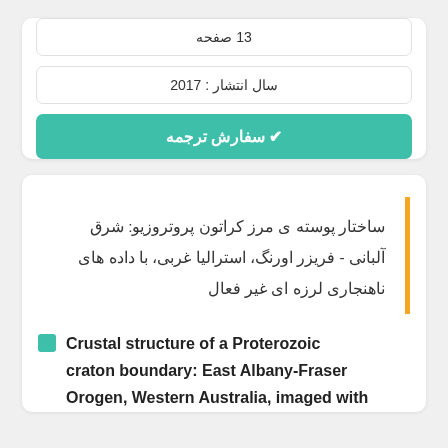13 صفحه
سال انتشار : 2017
✔ سفارش ترجمه
ساختار پوسته ی مرز کراتون پروتروزیو: شرق آلبانی - فریزر اورنگ، استرالیا غربی، با داده های ناهنجاری لرزه ای غیر فعال
Crustal structure of a Proterozoic craton boundary: East Albany-Fraser Orogen, Western Australia, imaged with